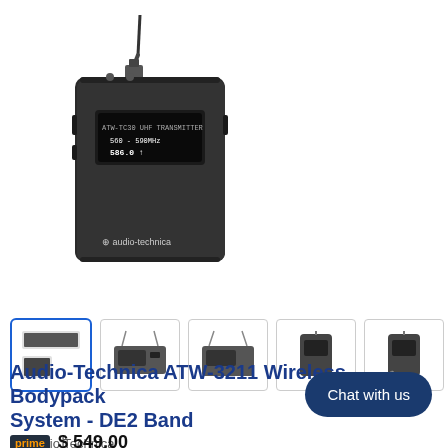[Figure (photo): Audio-Technica ATW-TC30 UHF wireless bodypack transmitter device in black, with antenna cable, shown against white background. The device shows a small LCD display and the audio-technica logo at the bottom.]
[Figure (photo): Row of 6 product thumbnail images for the ATW-3211 system: (1) selected thumbnail with blue border showing transmitter and receiver unit, (2) front view of receiver unit, (3) front view of receiver unit alternate angle, (4) bodypack transmitter side view, (5) bodypack transmitter, (6) full system with accessories.]
Audio-Technica ATW-3211 Wireless Bodypack System - DE2 Band
by Audio Technica
Chat with us
$ 549.00